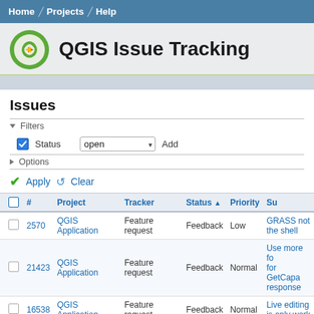Home / Projects / Help
QGIS Issue Tracking
Issues
▼ Filters
☑ Status   [open ▾]   Add
▶ Options
✔ Apply  🔄 Clear
| ✔ | # | Project | Tracker | Status ▲ | Priority | Su… |
| --- | --- | --- | --- | --- | --- | --- |
| ☐ | 2570 | QGIS Application | Feature request | Feedback | Low | GRASS not the shell |
| ☐ | 21423 | QGIS Application | Feature request | Feedback | Normal | Use more fo for GetCapa response |
| ☐ | 16538 | QGIS Application | Feature request | Feedback | Normal | Live editing is only work |
| ☐ | 19804 | QGIS Application | Feature request | Feedback | High | Change Leg Left Readin |
| ☐ | 20419 | QGIS Application | Feature request | Feedback | Normal | Apply butto |